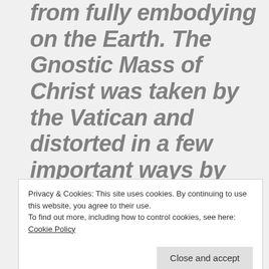from fully embodying on the Earth. The Gnostic Mass of Christ was taken by the Vatican and distorted in a few important ways by making Blood Sacrifice as a blessing to the people to intentionally increase the spreading of Satanic forces on the
Privacy & Cookies: This site uses cookies. By continuing to use this website, you agree to their use.
To find out more, including how to control cookies, see here: Cookie Policy
Sacrifice of Himself on the cross